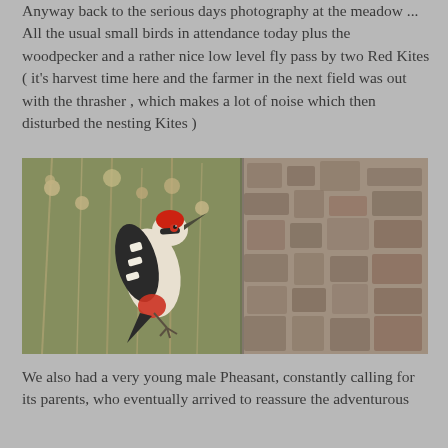Anyway back to the serious days photography at the meadow ... All the usual small birds in attendance today plus the woodpecker and a rather nice low level fly pass by two Red Kites ( it's harvest time here and the farmer in the next field was out with the thrasher , which makes a lot of noise which then disturbed the nesting Kites )
[Figure (photo): A Great Spotted Woodpecker perched against a tree trunk, shown in a composite of two photographs: left showing the bird among dried plant stems in a natural setting, right showing close-up of rough tree bark texture.]
We also had a very young male Pheasant, constantly calling for its parents, who eventually arrived to reassure the adventurous